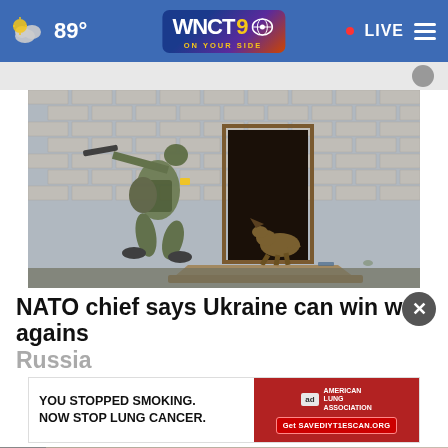WNCT 9 ON YOUR SIDE — 89° — LIVE
[Figure (photo): Ukrainian soldier in combat gear holding a rifle approaches a dark doorway in a brick building, while a German shepherd dog sniffs at the entrance. Debris including a fallen door panel is on the ground.]
NATO chief says Ukraine can win war against Russia
[Figure (other): Advertisement banner: YOU STOPPED SMOKING. NOW STOP LUNG CANCER. — American Lung Association — Get SAVEDIYT1ESCAN.ORG]